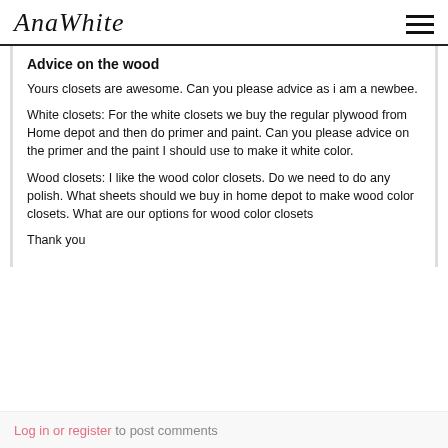AnaWhite
Advice on the wood
Yours closets are awesome. Can you please advice as i am a newbee.
White closets: For the white closets we buy the regular plywood from Home depot and then do primer and paint. Can you please advice on the primer and the paint I should use to make it white color.
Wood closets: I like the wood color closets. Do we need to do any polish. What sheets should we buy in home depot to make wood color closets. What are our options for wood color closets
Thank you
Log in or register to post comments